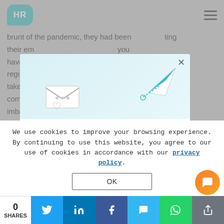[Figure (logo): HR cloud logo in teal rounded rectangle]
brunt of the pandemic, they had been cutting their employees... you have an... regular... and takes in... have a compa... r imbalance to adapt t... esses had to... and
[Figure (screenshot): Newsletter signup modal popup with paper plane illustration, title 'Get the latest HR industry news!' and email input field]
Get the latest HR industry news!
Your Email*
We use cookies to improve your browsing experience. By continuing to use this website, you agree to our use of cookies in accordance with our privacy policy.
OK
However, as CX was the community as a prior...
0
SHARES